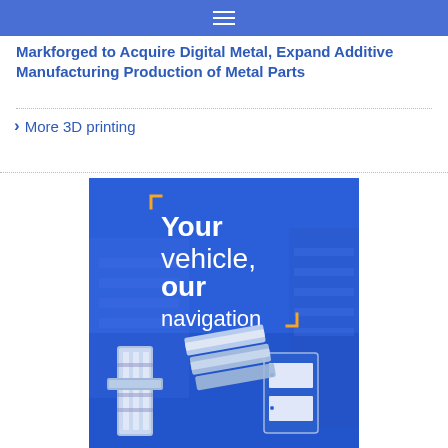≡
Markforged to Acquire Digital Metal, Expand Additive Manufacturing Production of Metal Parts
> More 3D printing
[Figure (illustration): Advertisement banner with blue background showing manufacturing/automotive parts and text: 'Your vehicle, our navigation' with orange bracket corner accents]